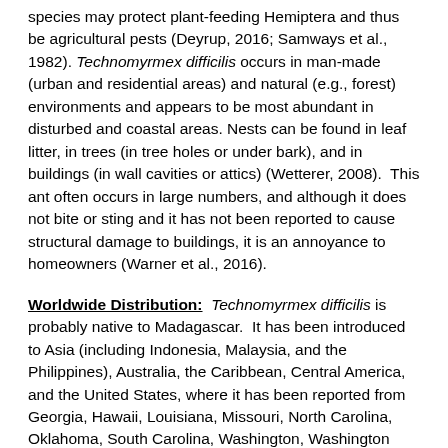species may protect plant-feeding Hemiptera and thus be agricultural pests (Deyrup, 2016; Samways et al., 1982). Technomyrmex difficilis occurs in man-made (urban and residential areas) and natural (e.g., forest) environments and appears to be most abundant in disturbed and coastal areas. Nests can be found in leaf litter, in trees (in tree holes or under bark), and in buildings (in wall cavities or attics) (Wetterer, 2008).  This ant often occurs in large numbers, and although it does not bite or sting and it has not been reported to cause structural damage to buildings, it is an annoyance to homeowners (Warner et al., 2016).
Worldwide Distribution:  Technomyrmex difficilis is probably native to Madagascar.  It has been introduced to Asia (including Indonesia, Malaysia, and the Philippines), Australia, the Caribbean, Central America, and the United States, where it has been reported from Georgia, Hawaii, Louisiana, Missouri, North Carolina, Oklahoma, South Carolina, Washington, Washington D.C., and Florida (Deyrup, 2016; Warner et al.,